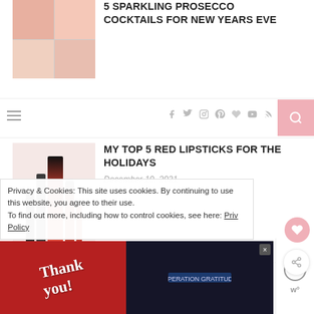[Figure (photo): Collage of holiday drinks and food items]
5 SPARKLING PROSECCO COCKTAILS FOR NEW YEARS EVE
[Figure (other): Navigation bar with hamburger menu, social icons (facebook, twitter, instagram, pinterest, heart, youtube, rss), and pink search button]
[Figure (photo): Red lipsticks and lip glosses arranged on a holiday backdrop]
MY TOP 5 RED LIPSTICKS FOR THE HOLIDAYS
December 10, 2021
[Figure (photo): Collage of December digital wallpapers with holiday themes]
DECEMBER DIGITAL BLOOMS ROUNDUP | 11 FREE TECH WALLPAPERS
Privacy & Cookies: This site uses cookies. By continuing to use this website, you agree to their use.
To find out more, including how to control cookies, see here: Privacy Policy
[Figure (photo): Operation Gratitude advertisement showing firefighters and thank you message]